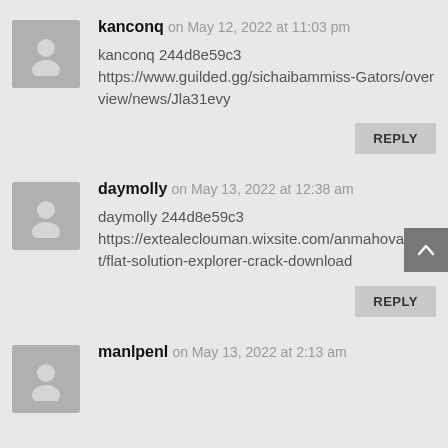kanconq on May 12, 2022 at 11:03 pm
kanconq 244d8e59c3
https://www.guilded.gg/sichaibammiss-Gators/overview/news/Jla31evy
REPLY
daymolly on May 13, 2022 at 12:38 am
daymolly 244d8e59c3
https://extealeclouman.wixsite.com/anmahova/post/flat-solution-explorer-crack-download
REPLY
manlpenl on May 13, 2022 at 2:13 am